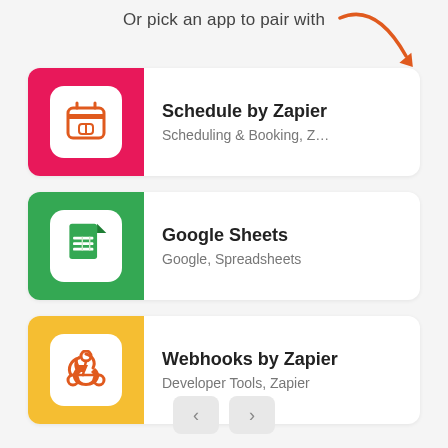Or pick an app to pair with
[Figure (illustration): Orange curved arrow pointing down-right]
[Figure (illustration): Schedule by Zapier app icon: pink background with white calendar icon]
Schedule by Zapier
Scheduling & Booking, Z...
[Figure (illustration): Google Sheets app icon: green background with white spreadsheet icon]
Google Sheets
Google, Spreadsheets
[Figure (illustration): Webhooks by Zapier app icon: yellow background with white webhook symbol]
Webhooks by Zapier
Developer Tools, Zapier
[Figure (illustration): Pagination buttons: left arrow and right arrow]